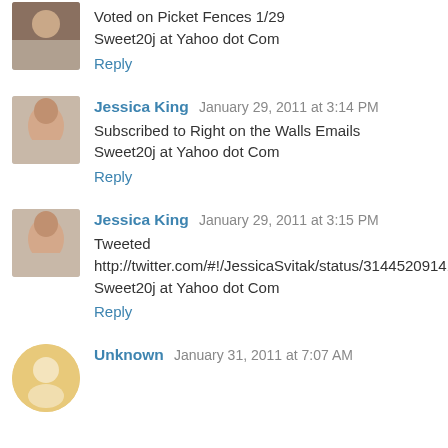Voted on Picket Fences 1/29
Sweet20j at Yahoo dot Com
Reply
Jessica King  January 29, 2011 at 3:14 PM
Subscribed to Right on the Walls Emails
Sweet20j at Yahoo dot Com
Reply
Jessica King  January 29, 2011 at 3:15 PM
Tweeted
http://twitter.com/#!/JessicaSvitak/status/31445209141215232
Sweet20j at Yahoo dot Com
Reply
Unknown  January 31, 2011 at 7:07 AM